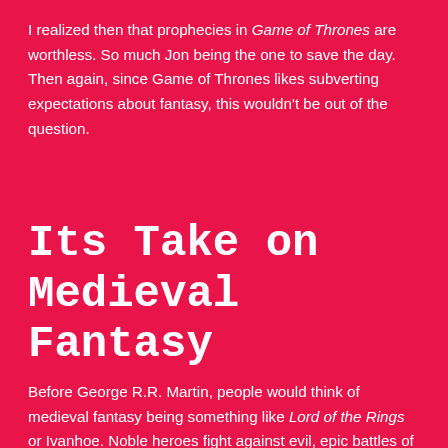I realized then that prophecies in Game of Thrones are worthless. So much Jon being the one to save the day. Then again, since Game of Thrones likes subverting expectations about fantasy, this wouldn't be out of the question.
Its Take on Medieval Fantasy
Before George R.R. Martin, people would think of medieval fantasy being something like Lord of the Rings or Ivanhoe. Noble heroes fight against evil, epic battles of magic and things. Game of Thrones takes all that and splashes it with a ridiculous dose of reality.
[Figure (photo): Black and white image showing medieval fantasy battle scene with figures in a stormy setting, including a man with dark long hair in the center.]